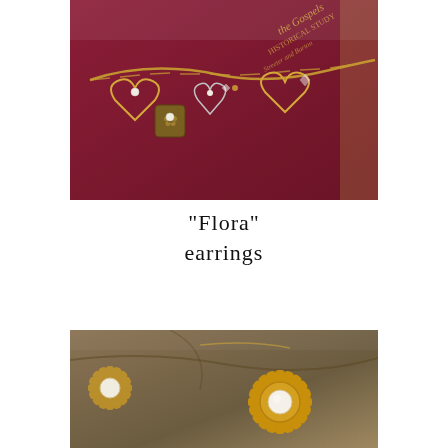[Figure (photo): A gold charm necklace with multiple heart-shaped charms, decorative filigree pendants, and small pearl accents, laid on a deep red antique book with gold lettering reading 'the Gospels Historical Study' and 'Streeter and Burton'.]
"Flora" earrings
[Figure (photo): A close-up photo of gold flower/sunflower-shaped earrings or pendants with pearl centers, arranged on a blurred warm brown background with branch-like elements.]